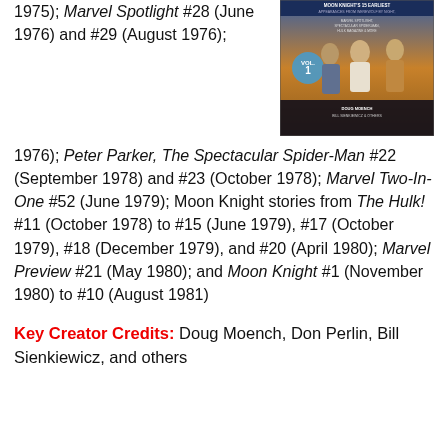1975); Marvel Spotlight #28 (June 1976) and #29 (August 1976);
[Figure (illustration): Comic book cover for Moon Knight Vol. 1, featuring superhero characters. Text on cover mentions Moon Knight's earliest appearances from Werewolf by Night, Marvel Spotlight, Spectacular Spider-Man, Hulk Magazine & more. Credits: Doug Moench, Bill Sienkiewicz & others.]
Peter Parker, The Spectacular Spider-Man #22 (September 1978) and #23 (October 1978); Marvel Two-In-One #52 (June 1979); Moon Knight stories from The Hulk! #11 (October 1978) to #15 (June 1979), #17 (October 1979), #18 (December 1979), and #20 (April 1980); Marvel Preview #21 (May 1980); and Moon Knight #1 (November 1980) to #10 (August 1981)
Key Creator Credits: Doug Moench, Don Perlin, Bill Sienkiewicz, and others